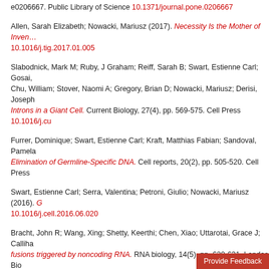e0206667. Public Library of Science 10.1371/journal.pone.0206667
Allen, Sarah Elizabeth; Nowacki, Mariusz (2017). Necessity Is the Mother of Invention... 10.1016/j.tig.2017.01.005
Slabodnick, Mark M; Ruby, J Graham; Reiff, Sarah B; Swart, Estienne Carl; Gosai, Chu, William; Stover, Naomi A; Gregory, Brian D; Nowacki, Mariusz; Derisi, Joseph Introns in a Giant Cell. Current Biology, 27(4), pp. 569-575. Cell Press 10.1016/j.cu
Furrer, Dominique; Swart, Estienne Carl; Kraft, Matthias Fabian; Sandoval, Pamela Elimination of Germline-Specific DNA. Cell reports, 20(2), pp. 505-520. Cell Press
Swart, Estienne Carl; Serra, Valentina; Petroni, Giulio; Nowacki, Mariusz (2016). G 10.1016/j.cell.2016.06.020
Bracht, John R; Wang, Xing; Shetty, Keerthi; Chen, Xiao; Uttarotai, Grace J; Callin fusions triggered by noncoding RNA. RNA biology, 14(5), pp. 620-631. Landes Bio
Nowacki, Mariusz; Witzany, Guenther (eds.) (2016). Biocommunication of Ciliates.
Allen, Sarah Elizabeth; Nowacki, Mariusz (2016). RNA-Guided Genome Editing. In 32211-7_3
Swart, Estienne Carl; Nowacki, Mariusz (2015). The eukaryotic way to defend and 10.1111/nyas.12636
Ignarski, Michael; Singh, Aditi; Swart, Estienne Carl; Arambasic, Miroslav; Sandova PtCAF-1 is involved in RNA-mediated control of DNA elimination. Nucleic acids re